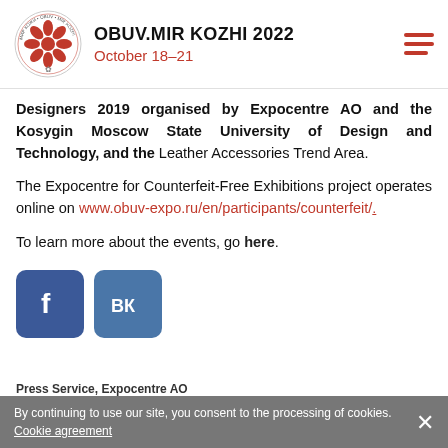OBUV.MIR KOZHI 2022 October 18–21
Designers 2019 organised by Expocentre AO and the Kosygin Moscow State University of Design and Technology, and the Leather Accessories Trend Area.
The Expocentre for Counterfeit-Free Exhibitions project operates online on www.obuv-expo.ru/en/participants/counterfeit/.
To learn more about the events, go here.
[Figure (logo): Facebook and VK social media buttons]
Press Service, Expocentre AO
By continuing to use our site, you consent to the processing of cookies. Cookie agreement